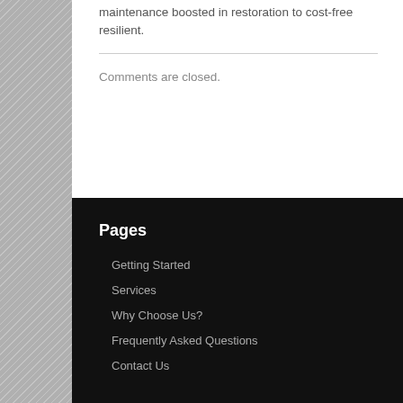maintenance boosted in restoration to cost-free resilient.
Comments are closed.
Pages
Getting Started
Services
Why Choose Us?
Frequently Asked Questions
Contact Us